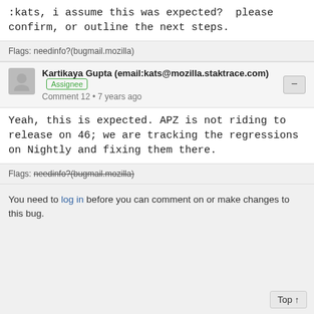:kats, i assume this was expected?  please confirm, or outline the next steps.
Flags: needinfo?(bugmail.mozilla)
Kartikaya Gupta (email:kats@mozilla.staktrace.com) Assignee
Comment 12 • 7 years ago
Yeah, this is expected. APZ is not riding to release on 46; we are tracking the regressions on Nightly and fixing them there.
Flags: needinfo?(bugmail.mozilla)
You need to log in before you can comment on or make changes to this bug.